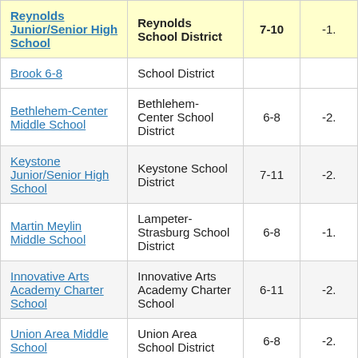| School | District | Grades | Value |
| --- | --- | --- | --- |
| Reynolds Junior/Senior High School | Reynolds School District | 7-10 | -1. |
| Brook 6-8 | School District |  |  |
| Bethlehem-Center Middle School | Bethlehem-Center School District | 6-8 | -2. |
| Keystone Junior/Senior High School | Keystone School District | 7-11 | -2. |
| Martin Meylin Middle School | Lampeter-Strasburg School District | 6-8 | -1. |
| Innovative Arts Academy Charter School | Innovative Arts Academy Charter School | 6-11 | -2. |
| Union Area Middle School | Union Area School District | 6-8 | -2. |
| Shade Central |  |  |  |